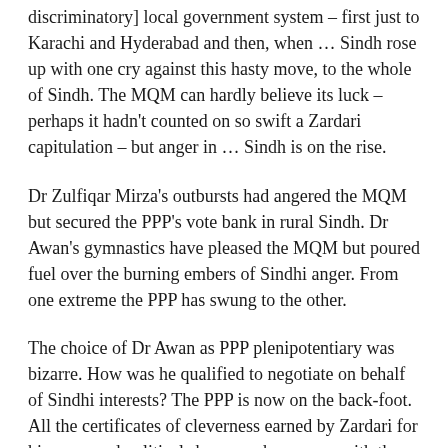discriminatory] local government system – first just to Karachi and Hyderabad and then, when … Sindh rose up with one cry against this hasty move, to the whole of Sindh. The MQM can hardly believe its luck – perhaps it hadn't counted on so swift a Zardari capitulation – but anger in … Sindh is on the rise.
Dr Zulfiqar Mirza's outbursts had angered the MQM but secured the PPP's vote bank in rural Sindh. Dr Awan's gymnastics have pleased the MQM but poured fuel over the burning embers of Sindhi anger. From one extreme the PPP has swung to the other.
The choice of Dr Awan as PPP plenipotentiary was bizarre. How was he qualified to negotiate on behalf of Sindhi interests? The PPP is now on the back-foot. All the certificates of cleverness earned by Zardari for his supposed political sharpness have gone with the wind.
Dr Awan has proved adept at stalling and frustrating the